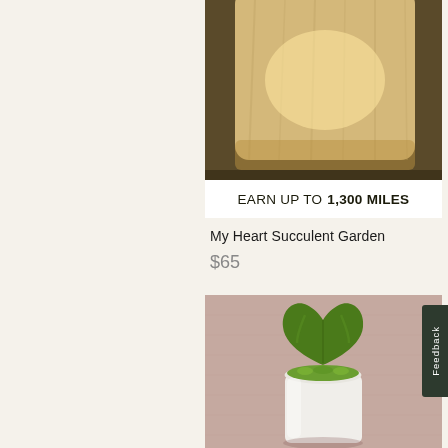[Figure (photo): Wooden cube lamp with warm glow on dark background, top portion visible]
EARN UP TO 1,300 MILES
My Heart Succulent Garden
$65
[Figure (photo): Heart-shaped succulent (Hoya kerrii) in white cylindrical pot with green moss, on dusty rose/mauve background]